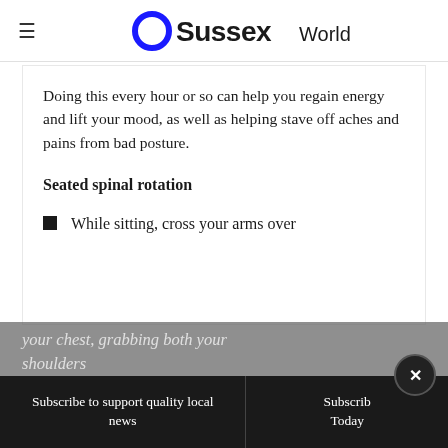OSussex World
Doing this every hour or so can help you regain energy and lift your mood, as well as helping stave off aches and pains from bad posture.
Seated spinal rotation
While sitting, cross your arms over your chest, grabbing both your shoulders
Subscribe to support quality local news | Subscribe Today